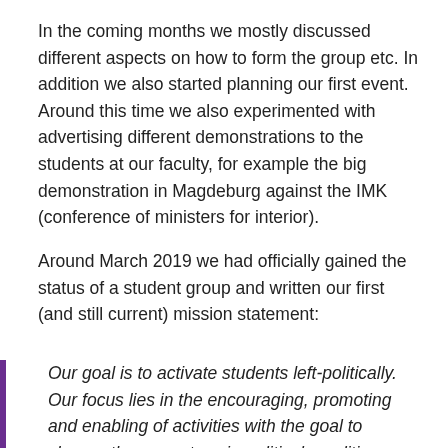In the coming months we mostly discussed different aspects on how to form the group etc. In addition we also started planning our first event. Around this time we also experimented with advertising different demonstrations to the students at our faculty, for example the big demonstration in Magdeburg against the IMK (conference of ministers for interior).
Around March 2019 we had officially gained the status of a student group and written our first (and still current) mission statement:
Our goal is to activate students left-politically. Our focus lies in the encouraging, promoting and enabling of activities with the goal to change the current socio-political conditions towards a sustainable protection of human and nature through the fighting of unjust power